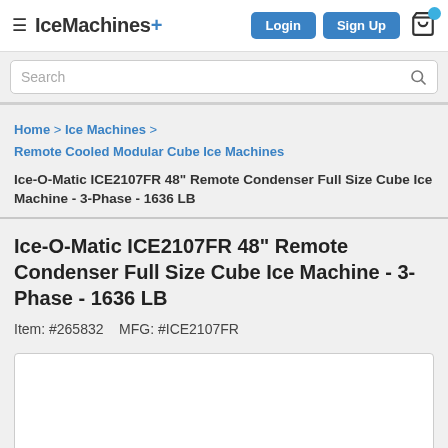IceMachines+ | Login | Sign Up
Search
Home > Ice Machines > Remote Cooled Modular Cube Ice Machines
Ice-O-Matic ICE2107FR 48" Remote Condenser Full Size Cube Ice Machine - 3-Phase - 1636 LB
Ice-O-Matic ICE2107FR 48" Remote Condenser Full Size Cube Ice Machine - 3-Phase - 1636 LB
Item: #265832    MFG: #ICE2107FR
[Figure (photo): Product image placeholder (white box)]